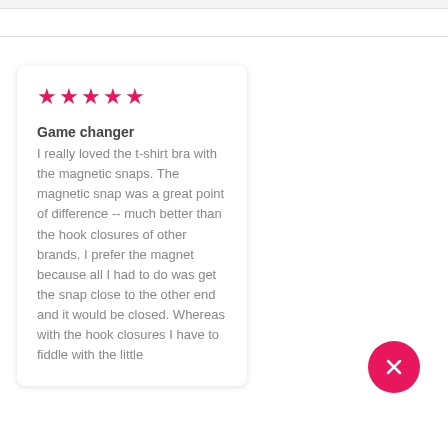★★★★★
Game changer
I really loved the t-shirt bra with the magnetic snaps. The magnetic snap was a great point of difference -- much better than the hook closures of other brands. I prefer the magnet because all I had to do was get the snap close to the other end and it would be closed. Whereas with the hook closures I have to fiddle with the little